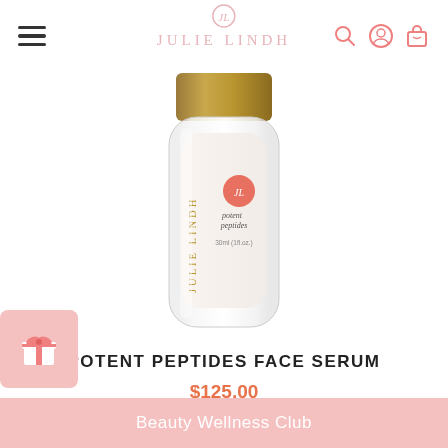JULIE LINDH
[Figure (photo): Julie Lindh Potent Peptides Face Serum bottle — clear glass cylindrical bottle with gold/bronze cap, white label with 'JULIE LINDH' text and salmon/coral circular logo, labeled 'potent peptides' and '30ml (1fl.oz.)']
POTENT PEPTIDES FACE SERUM
$125.00
Beauty Wellness Club